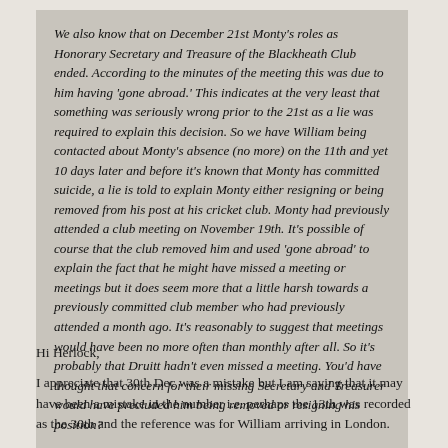We also know that on December 21st Monty's roles as Honorary Secretary and Treasure of the Blackheath Club ended. According to the minutes of the meeting this was due to him having 'gone abroad.' This indicates at the very least that something was seriously wrong prior to the 21st as a lie was required to explain this decision. So we have William being contacted about Monty's absence (no more) on the 11th and yet 10 days later and before it's known that Monty has committed suicide, a lie is told to explain Monty either resigning or being removed from his post at his cricket club. Monty had previously attended a club meeting on November 19th. It's possible of course that the club removed him and used 'gone abroad' to explain the fact that he might have missed a meeting or meetings but it does seem more that a little harsh towards a previously committed club member who had previously attended a month ago. It's reasonably to suggest that meetings would have been no more often than monthly after all. So it's probably that Druitt hadn't even missed a meeting. You'd have thought that concern for their missing Secretary and Treasurer would have precluded him being removed or resigning his position?
Hi Herlock,
I appreciate that 30th Dec was a mistake but I am saying that it may have been a mistake in the number i.e. perhaps the 13th was recorded as the 30th and the reference was for William arriving in London.